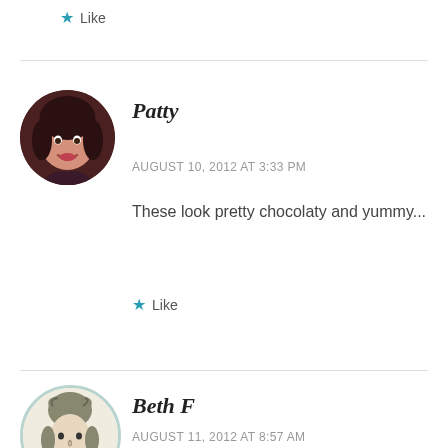Like
Patty
AUGUST 10, 2012 AT 3:33 PM
These look pretty chocolaty and yummy...
Like
[Figure (photo): Avatar of Patty - woman with dark hair smiling]
Beth F
AUGUST 11, 2012 AT 8:57 AM
[Figure (illustration): Avatar of Beth F - vintage illustration of woman with elaborate hairstyle]